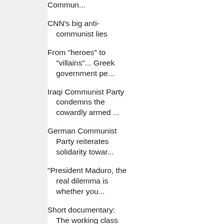Commun...
CNN's big anti-communist lies
From "heroes" to "villains"... Greek government pe...
Iraqi Communist Party condemns the cowardly armed ...
German Communist Party reiterates solidarity towar...
"President Maduro, the real dilemma is whether you...
Short documentary: The working class struggles in ...
Myanmar coup: The World Federation of Trade Unions...